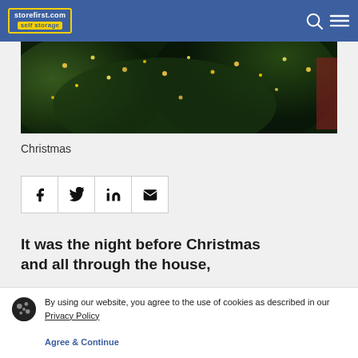storefirst.com self storage
[Figure (photo): Close-up photo of a Christmas tree with warm golden lights and green foliage against a dark background]
Christmas
[Figure (infographic): Four social share buttons: Facebook, Twitter, LinkedIn, Email]
It was the night before Christmas and all through the house,
By using our website, you agree to the use of cookies as described in our Privacy Policy

Agree & Continue